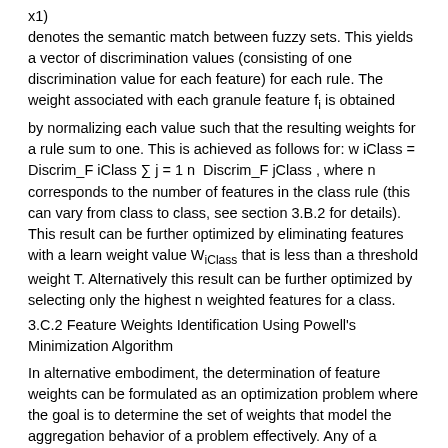x1) denotes the semantic match between fuzzy sets. This yields a vector of discrimination values (consisting of one discrimination value for each feature) for each rule. The weight associated with each granule feature f_i is obtained
by normalizing each value such that the resulting weights for a rule sum to one. This is achieved as follows for: w iClass = Discrim_F iClass ∑ j = 1 n  Discrim_F jClass , where n corresponds to the number of features in the class rule (this can vary from class to class, see section 3.B.2 for details). This result can be further optimized by eliminating features with a learn weight value W_iClass that is less than a threshold weight T. Alternatively this result can be further optimized by selecting only the highest n weighted features for a class.
3.C.2 Feature Weights Identification Using Powell's Minimization Algorithm
In alternative embodiment, the determination of feature weights can be formulated as an optimization problem where the goal is to determine the set of weights that model the aggregation behavior of a problem effectively. Any of a number of optimization techniques can be used to